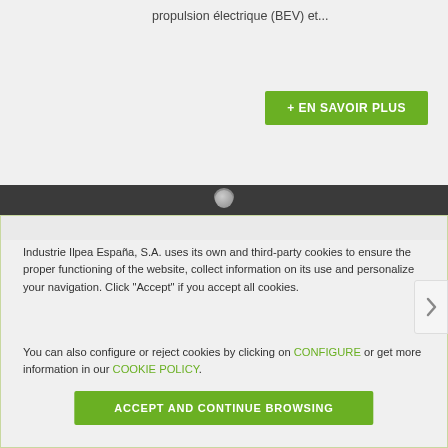propulsion électrique (BEV) et...
+ EN SAVOIR PLUS
[Figure (screenshot): Dark banner/image strip with a circular element at top center]
Industrie Ilpea España, S.A. uses its own and third-party cookies to ensure the proper functioning of the website, collect information on its use and personalize your navigation. Click "Accept" if you accept all cookies.

You can also configure or reject cookies by clicking on CONFIGURE or get more information in our COOKIE POLICY.
ACCEPT AND CONTINUE BROWSING